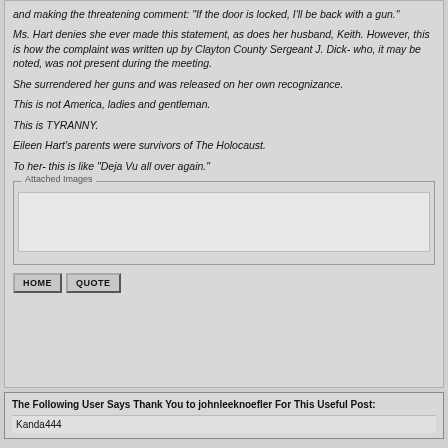and making the threatening comment: "If the door is locked, I'll be back with a gun."
Ms. Hart denies she ever made this statement, as does her husband, Keith. However, this is how the complaint was written up by Clayton County Sergeant J. Dick- who, it may be noted, was not present during the meeting.
She surrendered her guns and was released on her own recognizance.
This is not America, ladies and gentleman.
This is TYRANNY.
Eileen Hart's parents were survivors of The Holocaust.
To her- this is like "Deja Vu all over again."
[Figure (other): Attached Images box - empty image attachment area]
The Following User Says Thank You to johnleeknoefler For This Useful Post: Kanda444